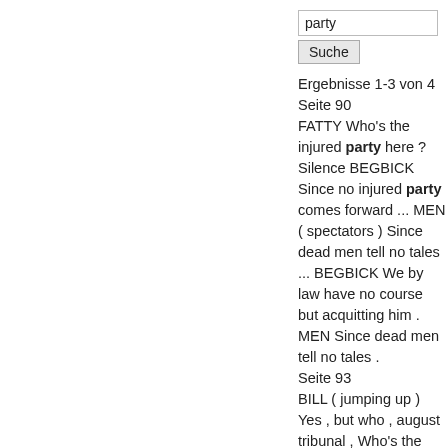party
Suche
Ergebnisse 1-3 von 4
Seite 90
FATTY Who's the injured party here ? Silence BEGBICK Since no injured party comes forward ... MEN ( spectators ) Since dead men tell no tales ... BEGBICK We by law have no course but acquitting him . MEN Since dead men tell no tales .
Seite 93
BILL ( jumping up ) Yes , but who , august tribunal , Who's the party whose punch really killed Joe ? BEGBICK Well then ,